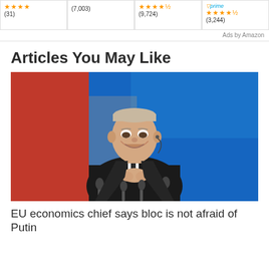[Figure (screenshot): Amazon ad bar with star ratings and review counts for 4 products. Product 1: 4 stars (31 reviews). Product 2: (7,003 reviews). Product 3: 4.5 stars (9,724 reviews). Product 4: Amazon Prime badge, 4.5 stars (3,244 reviews). Ads by Amazon label.]
Articles You May Like
[Figure (photo): Photo of Vladimir Putin smiling at a press conference, seated in front of red and blue flags, with microphones in front of him, wearing a black suit and earpiece.]
EU economics chief says bloc is not afraid of Putin